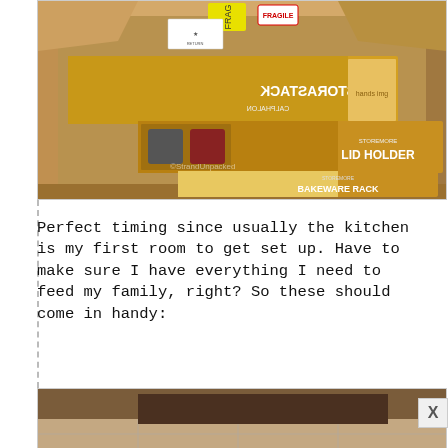[Figure (photo): A large open cardboard shipping box containing three product boxes: a Calphalon Storastack (upside-down), a Storemore Lid Holder, and a Storemore Bakeware Rack. The outer box has shipping labels including 'FRAGILE' stickers.]
Perfect timing since usually the kitchen is my first room to get set up. Have to make sure I have everything I need to feed my family, right? So these should come in handy:
[Figure (photo): Partial view of a second photo showing what appears to be a wooden surface or box on a tile floor.]